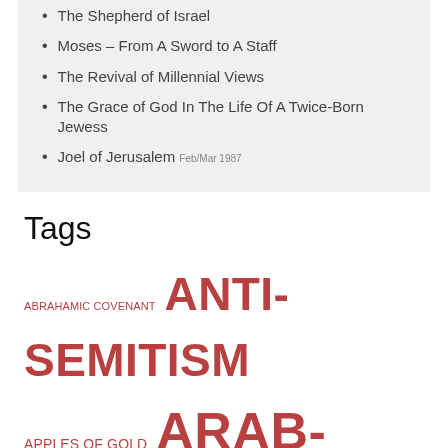The Shepherd of Israel
Moses – From A Sword to A Staff
The Revival of Millennial Views
The Grace of God In The Life Of A Twice-Born Jewess
Joel of Jerusalem Feb/Mar 1987
Tags
ABRAHAMIC COVENANT ANTI-SEMITISM APPLES OF GOLD ARAB-ISRAELI CONFLICT ARCHAEOLOGY CHRISTIAN LIVING CHRISTIAN PERSECUTION CHRISTMAS DEVOTIONAL DOCTRINE EDITORIAL